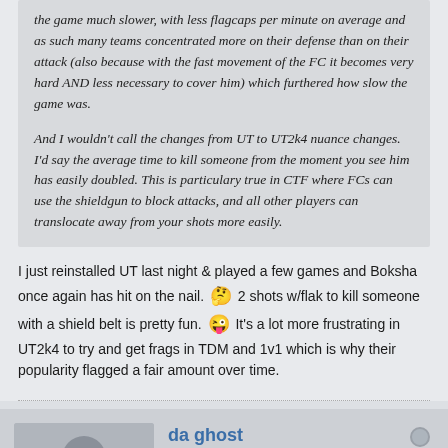the game much slower, with less flagcaps per minute on average and as such many teams concentrated more on their defense than on their attack (also because with the fast movement of the FC it becomes very hard AND less necessary to cover him) which furthered how slow the game was.

And I wouldn't call the changes from UT to UT2k4 nuance changes. I'd say the average time to kill someone from the moment you see him has easily doubled. This is particulary true in CTF where FCs can use the shieldgun to block attacks, and all other players can translocate away from your shots more easily.
I just reinstalled UT last night & played a few games and Boksha once again has hit on the nail. 2 shots w/flak to kill someone with a shield belt is pretty fun. It's a lot more frustrating in UT2k4 to try and get frags in TDM and 1v1 which is why their popularity flagged a fair amount over time.
da ghost
Junior Member
Join Date: Aug 2022   Posts: 0